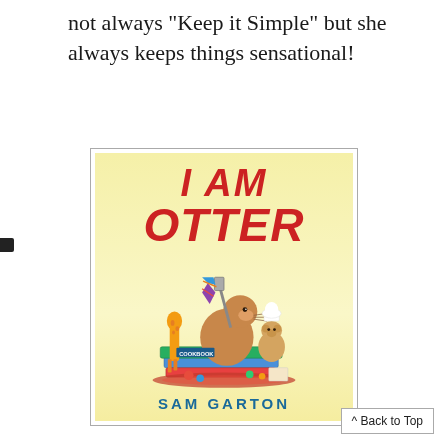not always “Keep it Simple” but she always keeps things sensational!
[Figure (illustration): Book cover of 'I AM OTTER' by Sam Garton. Yellow background with large red bold italic title text 'I AM OTTER'. Illustration shows a cartoon otter sitting on a pile of books and items, holding a spatula, with a toy giraffe on the left and a small teddy bear with a chef hat on the right.]
^ Back to Top